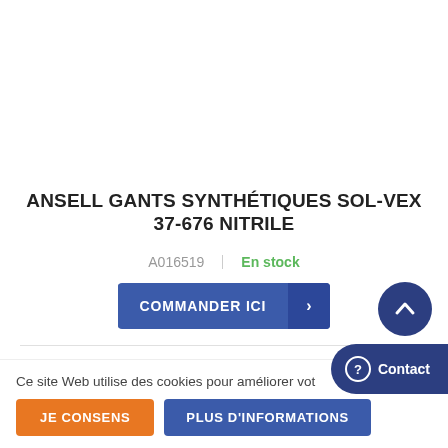ANSELL GANTS SYNTHÉTIQUES SOL-VEX 37-676 NITRILE
A016519   En stock
COMMANDER ICI ›
Ce site Web utilise des cookies pour améliorer vot...
JE CONSENS
PLUS D'INFORMATIONS
? Contact